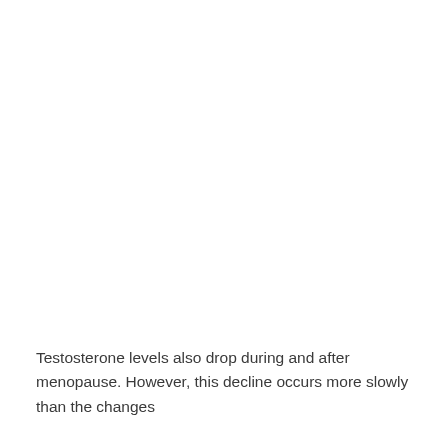Testosterone levels also drop during and after menopause. However, this decline occurs more slowly than the changes